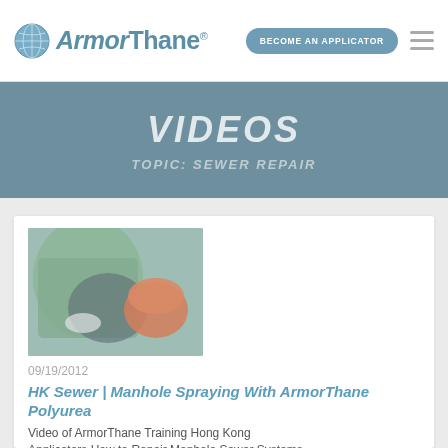[Figure (logo): ArmorThane logo with globe icon and stylized text]
BECOME AN APPLICATOR
VIDEOS
TOPIC: SEWER REPAIR
[Figure (photo): Thumbnail photo showing person applying coating in a manhole/sewer, wearing green jacket and orange ear protection helmet]
09/19/2012
HK Sewer | Manhole Spraying With ArmorThane Polyurea
Video of ArmorThane Training Hong Kong Applicators How to Repair Manhole Sewer Systems